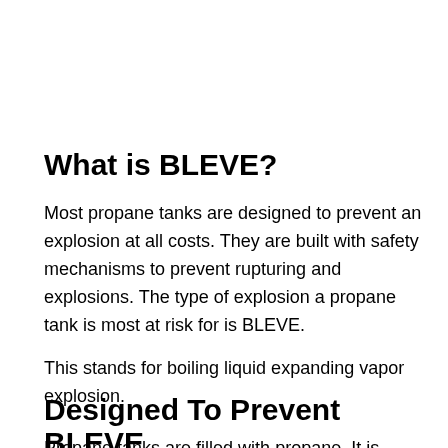What is BLEVE?
Most propane tanks are designed to prevent an explosion at all costs. They are built with safety mechanisms to prevent rupturing and explosions. The type of explosion a propane tank is most at risk for is BLEVE.
This stands for boiling liquid expanding vapor explosion.
Designed To Prevent BLEVE
Propane tanks are filled with propane. It is forced into the